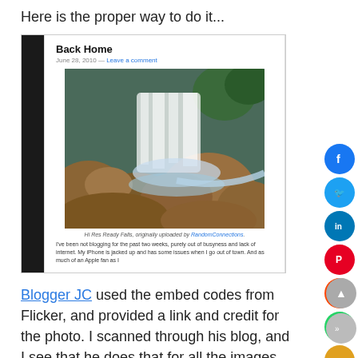Here is the proper way to do it...
[Figure (screenshot): Screenshot of a blog post titled 'Back Home' dated June 28, 2010 with a waterfall photo and text excerpt]
Blogger JC used the embed codes from Flicker, and provided a link and credit for the photo. I scanned through his blog, and I see that he does that for all the images on his site. Kudos, JC!
I try to do the same thing here, by providing at least a link